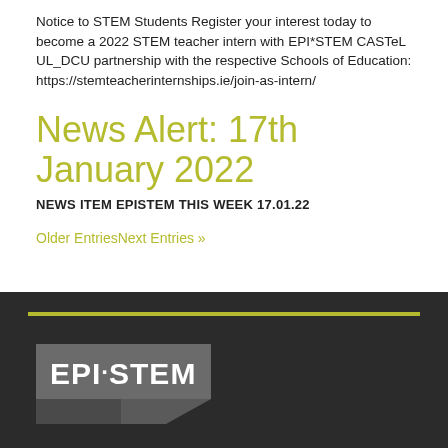Notice to STEM Students Register your interest today to become a 2022 STEM teacher intern with EPI*STEM CASTeL UL_DCU partnership with the respective Schools of Education: https://stemteacherinternships.ie/join-as-intern/
News Alert: 17th January 2022
NEWS ITEM EPISTEM THIS WEEK 17.01.22
Older EntriesNext Entries »
[Figure (logo): EPI*STEM logo — grey banner/pennant shape with text 'EPI*STEM' in white, arrow pointing left below]